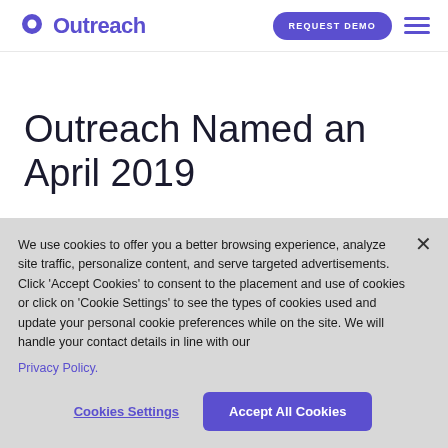Outreach | REQUEST DEMO
Outreach Named an April 2019
We use cookies to offer you a better browsing experience, analyze site traffic, personalize content, and serve targeted advertisements. Click 'Accept Cookies' to consent to the placement and use of cookies or click on 'Cookie Settings' to see the types of cookies used and update your personal cookie preferences while on the site. We will handle your contact details in line with our Privacy Policy.
Cookies Settings
Accept All Cookies